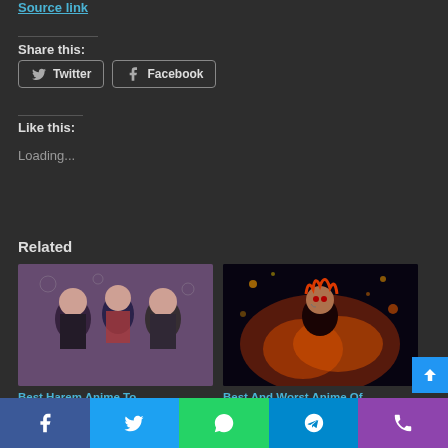Source link
Share this:
Twitter  Facebook
Like this:
Loading...
Related
[Figure (photo): Anime harem group illustration with multiple characters]
Best Harem Anime To
[Figure (photo): Demon Slayer anime action scene with flame effects]
Best And Worst Anime Of
Facebook  Twitter  WhatsApp  Telegram  Phone